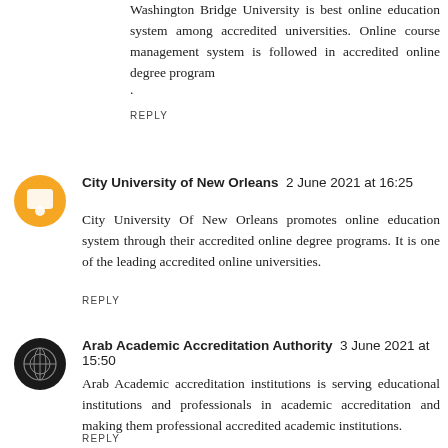Washington Bridge University is best online education system among accredited universities. Online course management system is followed in accredited online degree program .
REPLY
City University of New Orleans  2 June 2021 at 16:25
City University Of New Orleans promotes online education system through their accredited online degree programs. It is one of the leading accredited online universities.
REPLY
Arab Academic Accreditation Authority  3 June 2021 at 15:50
Arab Academic accreditation institutions is serving educational institutions and professionals in academic accreditation and making them professional accredited academic institutions.
REPLY